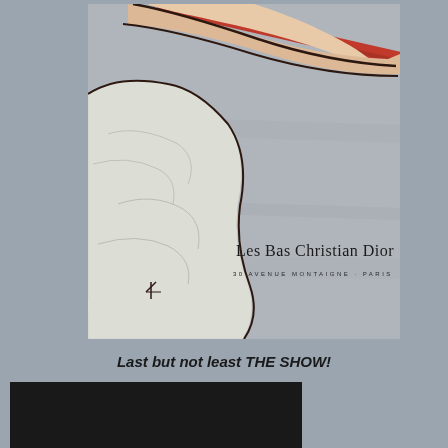[Figure (illustration): A vintage French fashion advertisement illustration for 'Les Bas Christian Dior'. Shows a woman's leg and arm in a white dress against a grey background with a red diagonal bar/barre. Text reads 'Les Bas Christian Dior' and '30 Avenue Montaigne - Paris' at bottom. Artist signature visible lower left.]
Last but not least THE SHOW!
[Figure (photo): A dark/black photo partially visible at the bottom of the page, appears to be the beginning of a show or performance image.]